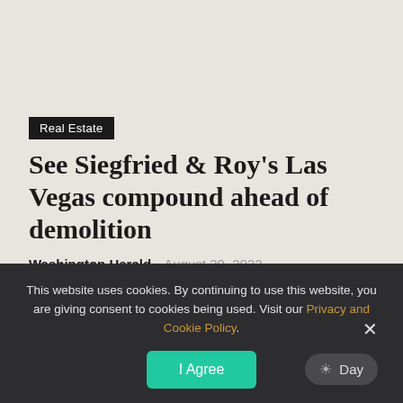Real Estate
See Siegfried & Roy's Las Vegas compound ahead of demolition
Washington Herald   August 20, 2022
The late great illusionists' home is fated for the wrecking ball. The palatial property the flamboyant German-American duo Siegfried & Roy called home isn't long...
This website uses cookies. By continuing to use this website, you are giving consent to cookies being used. Visit our Privacy and Cookie Policy.